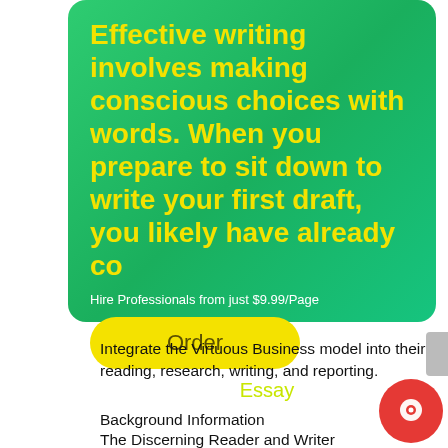[Figure (infographic): Green rounded banner with yellow bold headline text, a yellow Order button, and Essay label at bottom]
Integrate the Virtuous Business model into their reading, research, writing, and reporting.
Background Information
The Discerning Reader and Writer
Even professional writers need help with the meanings, spellings, pronunciations, and uses of particular words.